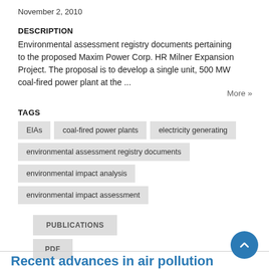November 2, 2010
DESCRIPTION
Environmental assessment registry documents pertaining to the proposed Maxim Power Corp. HR Milner Expansion Project. The proposal is to develop a single unit, 500 MW coal-fired power plant at the ...
More »
TAGS
EIAs
coal-fired power plants
electricity generating
environmental assessment registry documents
environmental impact analysis
environmental impact assessment
PUBLICATIONS
PDF
Recent advances in air pollution control technologies for coal-fired power plants